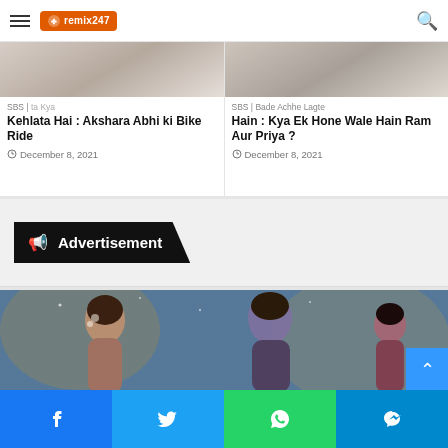Menu | Logo | Search
SBS | ta Kya Kehlata Hai : Akshara Abhi ki Bike Ride
December 8, 2021
SBS | Bade Achhe Lagte Hain : Kya Ek Hone Wale Hain Ram Aur Priya ?
December 8, 2021
Advertisement
[Figure (photo): Two characters from an Indian TV serial facing each other at a decorated event venue with blue drapes and golden decor in the background.]